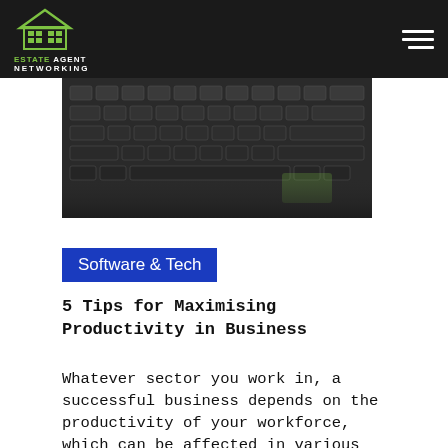Estate Agent Networking
[Figure (photo): Close-up photo of a laptop keyboard, dark tones]
Software & Tech
5 Tips for Maximising Productivity in Business
Whatever sector you work in, a successful business depends on the productivity of your workforce, which can be affected in various ways. Here are five tips for getting the most out of your business with maximum impact on your reputation, profits and productivity. 1. Reward Your Staff for Their Successes The policy of rewarding